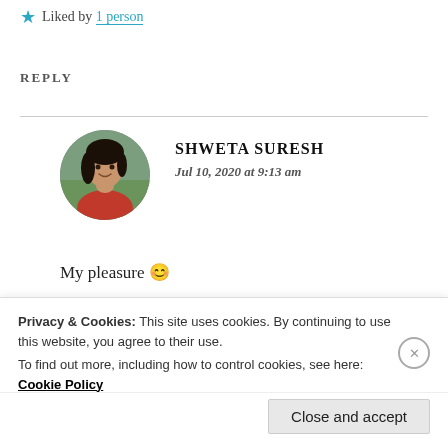Thank you Shweta!! 🌹🌹❤️
★ Liked by 1 person
REPLY
[Figure (photo): Circular avatar photo of Shweta Suresh, a young woman smiling, wearing a red top, with greenery in background]
SHWETA SURESH
Jul 10, 2020 at 9:13 am
My pleasure 😊
Privacy & Cookies: This site uses cookies. By continuing to use this website, you agree to their use.
To find out more, including how to control cookies, see here: Cookie Policy
Close and accept